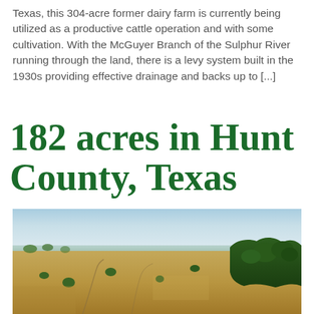Texas, this 304-acre former dairy farm is currently being utilized as a productive cattle operation and with some cultivation. With the McGuyer Branch of the Sulphur River running through the land, there is a levy system built in the 1930s providing effective drainage and backs up to [...]
182 acres in Hunt County, Texas
[Figure (photo): Aerial photograph of a large open farm/ranch in Hunt County, Texas showing golden-brown fields, scattered trees, a tree line on the right side (likely along a river or creek), flat rural landscape extending to the horizon under a light blue sky.]